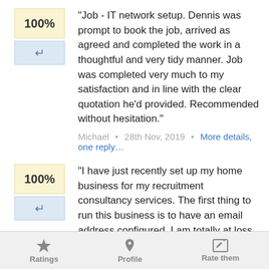"Job - IT network setup. Dennis was prompt to book the job, arrived as agreed and completed the work in a thoughtful and very tidy manner. Job was completed very much to my satisfaction and in line with the clear quotation he'd provided. Recommended without hesitation."
Michael • 28th Nov, 2019 • More details, one reply…
"I have just recently set up my home business for my recruitment consultancy services. The first thing to run this business is to have an email address configured. I am totally at loss when it comes to IT requirements. I was worried at the beginning as he was traveling that time when I contacted him. But he was able to advise and…
Ratings  Profile  Rate them